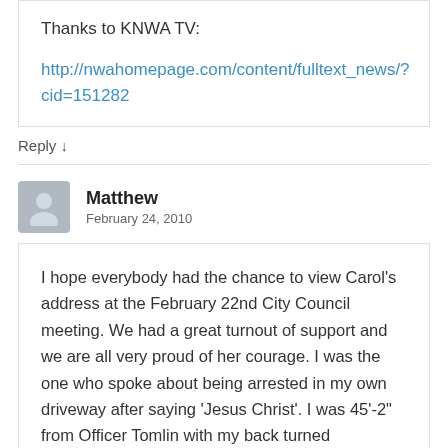Thanks to KNWA TV:
http://nwahomepage.com/content/fulltext_news/?cid=151282
Reply ↓
Matthew
February 24, 2010
I hope everybody had the chance to view Carol's address at the February 22nd City Council meeting. We had a great turnout of support and we are all very proud of her courage. I was the one who spoke about being arrested in my own driveway after saying 'Jesus Christ'. I was 45'-2" from Officer Tomlin with my back turned